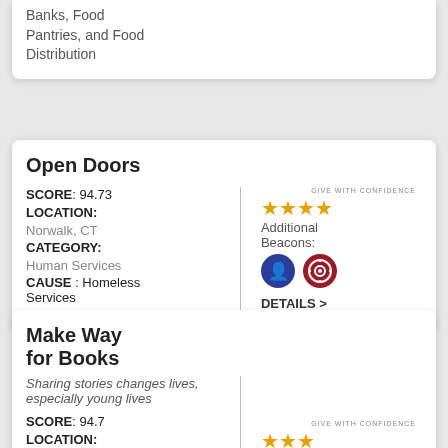Banks, Food Pantries, and Food Distribution
Open Doors
SCORE: 94.73 LOCATION: Norwalk, CT CATEGORY: Human Services CAUSE: Homeless Services
[Figure (infographic): Give With Confidence 4 gold stars, Additional Beacons icons (person and target), DETAILS > link]
Make Way for Books
Sharing stories changes lives, especially young lives
SCORE: 94.7 LOCATION:
[Figure (infographic): Give With Confidence 3 gold stars, Additional Beacons icons, bottom of page]